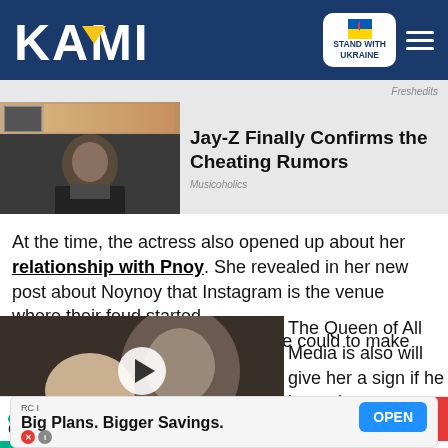KAMI — STAND WITH UKRAINE
[Figure (screenshot): Ad thumbnail showing Jay-Z image with inset photo]
Jay-Z Finally Confirms the Cheating Rumors
Musicoholics
At the time, the actress also opened up about her relationship with Pnoy. She revealed in her new post about Noynoy that Instagram is the venue where their feud started. According to Kris, she did all she could to make Noynoy [image overlay] The Queen of All Media is also will give her a sign if he is ready
[Figure (screenshot): Video thumbnail showing couple, with play button overlay and green label SHE DIRECTED THE END OF HER MARRIAGE]
mazing Facebook posts to esitate to comment and
[Figure (screenshot): Bottom advertisement: RC I — Big Plans. Bigger Savings. OPEN button]